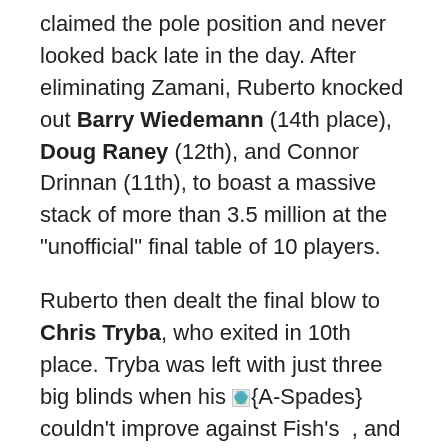claimed the pole position and never looked back late in the day. After eliminating Zamani, Ruberto knocked out Barry Wiedemann (14th place), Doug Raney (12th), and Connor Drinnan (11th), to boast a massive stack of more than 3.5 million at the "unofficial" final table of 10 players.
Ruberto then dealt the final blow to Chris Tryba, who exited in 10th place. Tryba was left with just three big blinds when his [A-Spades] couldn't improve against Fish's , and he was removed from the tournament by Ruberto moments later.
Lisa Hamilton, the lone female remaining